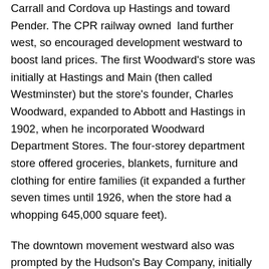Carrall and Cordova up Hastings and toward Pender. The CPR railway owned land further west, so encouraged development westward to boost land prices. The first Woodward's store was initially at Hastings and Main (then called Westminster) but the store's founder, Charles Woodward, expanded to Abbott and Hastings in 1902, when he incorporated Woodward Department Stores. The four-storey department store offered groceries, blankets, furniture and clothing for entire families (it expanded a further seven times until 1926, when the store had a whopping 645,000 square feet).
The downtown movement westward also was prompted by the Hudson's Bay Company, initially a fur trading company in B.C., building a large store at Granville Street and Georgia in 1883, later expanding in 1890.